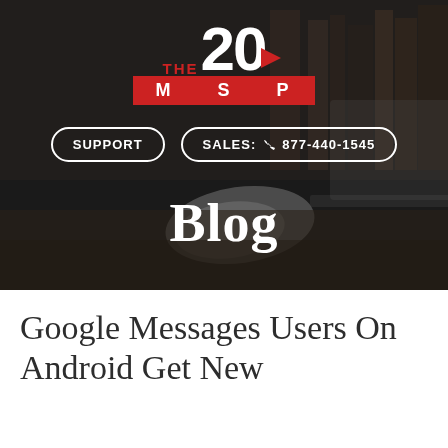[Figure (screenshot): Hero banner of The 20 MSP website showing a dark blurred background with a laptop and mouse on a desk]
THE 20 MSP
SUPPORT | SALES: 877-440-1545
Blog
Google Messages Users On Android Get New